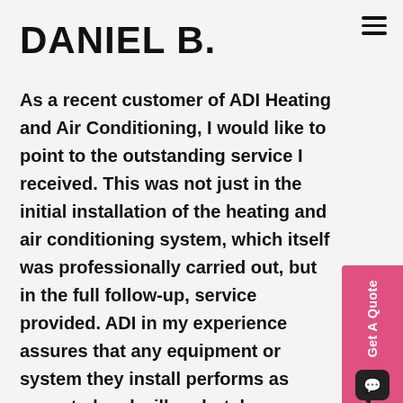DANIEL B.
As a recent customer of ADI Heating and Air Conditioning, I would like to point to the outstanding service I received. This was not just in the initial installation of the heating and air conditioning system, which itself was professionally carried out, but in the full follow-up, service provided. ADI in my experience assures that any equipment or system they install performs as expected and will undertake any adjustments or repairs necessary to make sure that this is the case at no extra expense to the customer until everything is